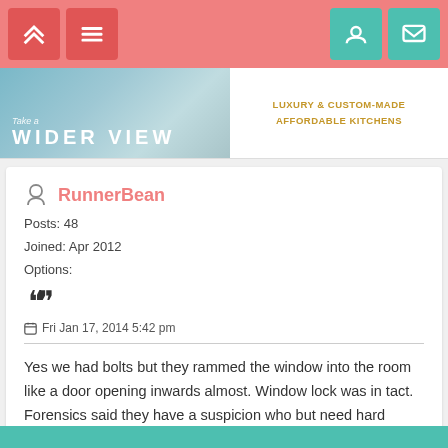Navigation bar with logo and menu icons
[Figure (screenshot): Banner advertisement showing kitchen with text WIDER VIEW and luxury kitchens ad]
RunnerBean
Posts: 48
Joined: Apr 2012
Options:
Fri Jan 17, 2014 5:42 pm
Yes we had bolts but they rammed the window into the room like a door opening inwards almost. Window lock was in tact. Forensics said they have a suspicion who but need hard evidence - no fingerprints though.